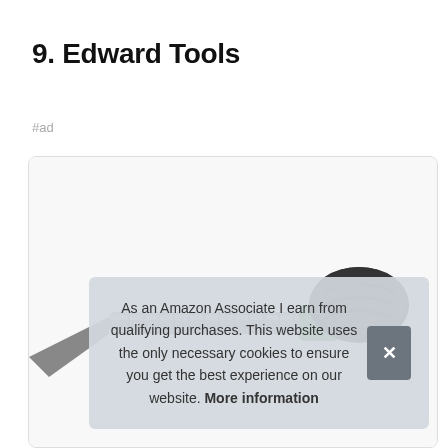9. Edward Tools
#ad
[Figure (photo): Product photo of Edward Tools garden tool with black rubber grip handle and green collar, shown against white background]
As an Amazon Associate I earn from qualifying purchases. This website uses the only necessary cookies to ensure you get the best experience on our website. More information